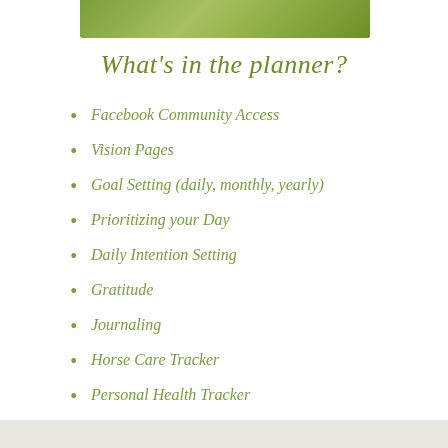[Figure (illustration): Green nature/grass background image banner at the top of the page]
What's in the planner?
Facebook Community Access
Vision Pages
Goal Setting (daily, monthly, yearly)
Prioritizing your Day
Daily Intention Setting
Gratitude
Journaling
Horse Care Tracker
Personal Health Tracker
To-Do List
Calendar
Bucket List